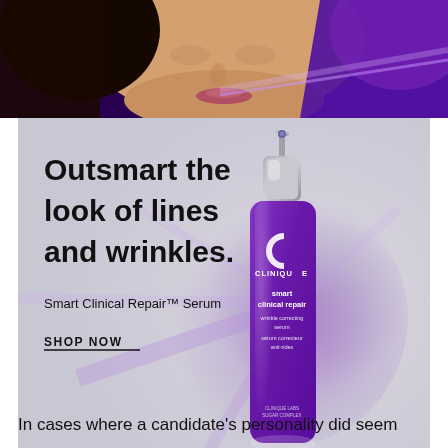[Figure (photo): Woman's face close-up with dark hair, smiling, against purple glowing background — Clinique advertisement photo]
[Figure (illustration): Clinique Smart Clinical Repair Wrinkle Correcting Serum advertisement. Gray-purple gradient background with light rays. Bold black text: 'Outsmart the look of lines and wrinkles.' Sub-text: 'Smart Clinical Repair™ Serum'. Call to action: 'SHOP NOW'. Purple Clinique serum bottle on right side.]
⊓ POWERED BY CONCERT                                                         FEEDBACK
In cases where a candidate's personality did seem